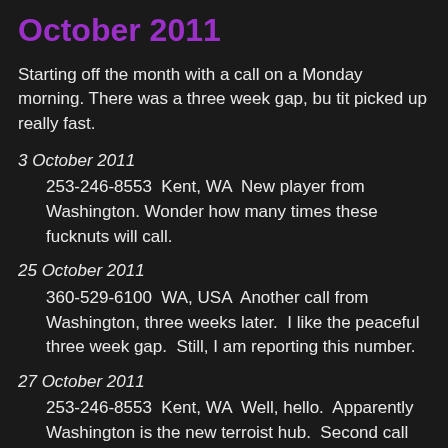October 2011
Starting off the month with a call on a Monday morning. There was a three week gap, bu tit picked up really fast.
3 October 2011
    253-246-8553  Kent, WA  New player from Washington.  Wonder how many times these fucknuts will call.
25 October 2011
    360-529-6100  WA, USA  Another call from Washington, three weeks later.  I like the peaceful three week gap.  Still, I am reporting this number.
27 October 2011
    253-246-8553  Kent, WA  Well, hello.  Apparently Washington is the new terroist hub.  Second call from Kent.
253-246-8553  Kent, WA  Really, twice in less than a hour?  Fuck you!
253-246-8553  Kent, WA  Oh you motherfuckers.  Three times in one hour, better off on...